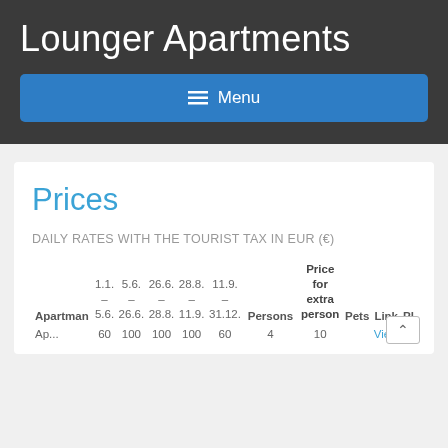Lounger Apartments
☰ Menu
Prices
DAILY RATES WITH THE TOURIST TAX IN EUR (€)
| Apartman | 1.1. – 5.6. | 5.6. – 26.6. | 26.6. – 28.8. | 28.8. – 11.9. | 11.9. – 31.12. | Persons | Price for extra person | Pets | Link | Pl |
| --- | --- | --- | --- | --- | --- | --- | --- | --- | --- | --- |
| Ap... | 60 | 100 | 100 | 100 | 60 | 4 | 10 |  | View |  |